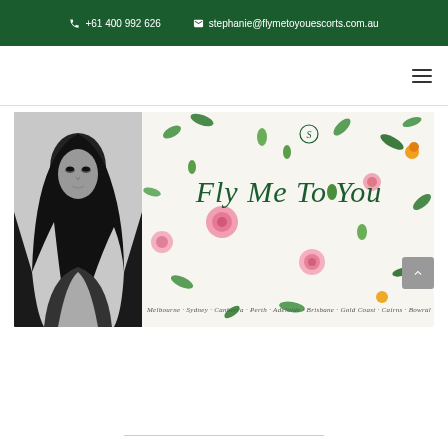+61 400 992 626   stephanie@flymetoyouescorts.com.au
[Figure (screenshot): Navigation bar with hamburger menu icon on the right side]
[Figure (photo): Hero banner image showing a black-and-white portrait of a woman on the left and a floral background on the right with italic green text 'Fly Me To You' and city names: Melbourne · Sydney · Canberra · Perth · Adelaide · Brisbane · Gold Coast · Cairns · Bowral]